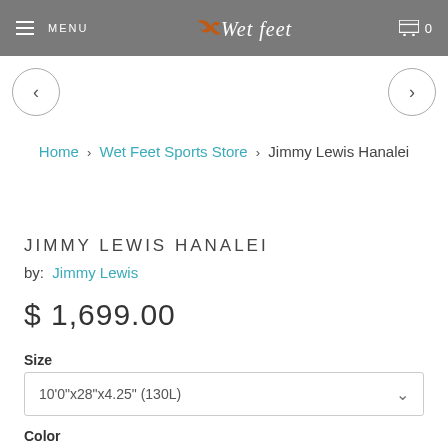MENU  |  Wet Feet  |  Cart 0
< (left arrow) > (right arrow) navigation
Home › Wet Feet Sports Store › Jimmy Lewis Hanalei
JIMMY LEWIS HANALEI
by: Jimmy Lewis
$ 1,699.00
Size
10'0"x28"x4.25" (130L)
Color